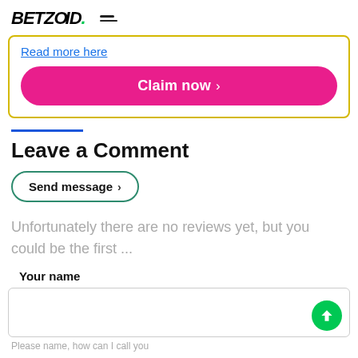BETZOID.
Read more here
Claim now ›
Leave a Comment
Send message ›
Unfortunately there are no reviews yet, but you could be the first ...
Your name
Please name, how can I call you